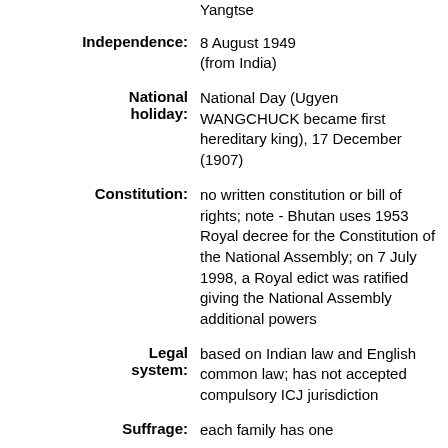Yangtse
Independence: 8 August 1949 (from India)
National holiday: National Day (Ugyen WANGCHUCK became first hereditary king), 17 December (1907)
Constitution: no written constitution or bill of rights; note - Bhutan uses 1953 Royal decree for the Constitution of the National Assembly; on 7 July 1998, a Royal edict was ratified giving the National Assembly additional powers
Legal system: based on Indian law and English common law; has not accepted compulsory ICJ jurisdiction
Suffrage: each family has one